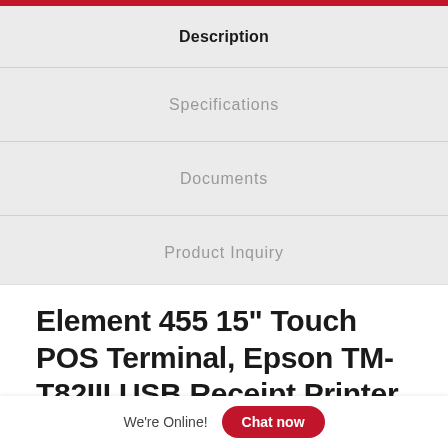Description
Specifications
Documents
Product Inquiry
Element 455 15" Touch POS Terminal, Epson TM-T82III USB Receipt Printer, Zebra DS2278 Bluetooth Bar…